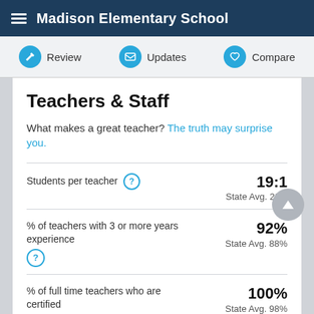Madison Elementary School
Review | Updates | Compare
Teachers & Staff
What makes a great teacher? The truth may surprise you.
| Metric | Value | State Avg |
| --- | --- | --- |
| Students per teacher | 19:1 | State Avg. 22:1 |
| % of teachers with 3 or more years experience | 92% | State Avg. 88% |
| % of full time teachers who are certified | 100% | State Avg. 98% |